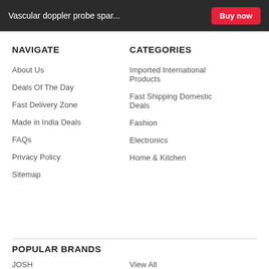Vascular doppler probe spar...
NAVIGATE
About Us
Deals Of The Day
Fast Delivery Zone
Made in India Deals
FAQs
Privacy Policy
Sitemap
CATEGORIES
Imported International Products
Fast Shipping Domestic Deals
Fashion
Electronics
Home & Kitchen
POPULAR BRANDS
JOSH
View All